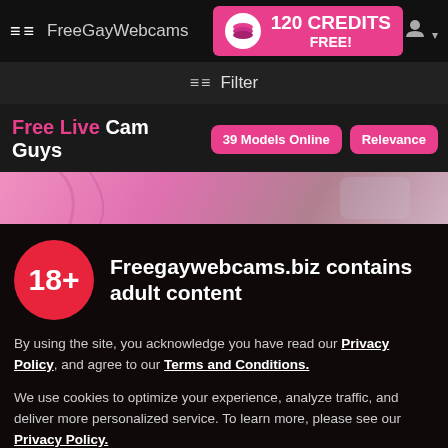FreeGayWebcams — 120 CREDITS FREE!
≡≡ Filter
Free Live Cam Guys   39 Models Online   Relevance
[Figure (photo): Pink background banner image with decorative elements]
Freegaywebcams.biz contains adult content
By using the site, you acknowledge you have read our Privacy Policy, and agree to our Terms and Conditions.
We use cookies to optimize your experience, analyze traffic, and deliver more personalized service. To learn more, please see our Privacy Policy.
I AGREE